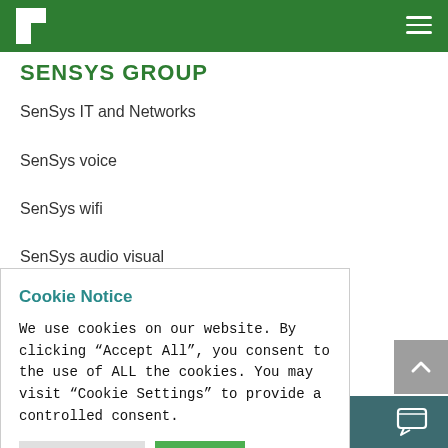SENSYS GROUP
SenSys IT and Networks
SenSys voice
SenSys wifi
SenSys audio visual
Cookie Notice
We use cookies on our website. By clicking “Accept All”, you consent to the use of ALL the cookies. You may visit "Cookie Settings" to provide a controlled consent.
Cookie Settings | Accept
Chat now